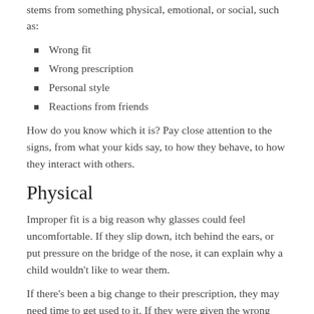stems from something physical, emotional, or social, such as:
Wrong fit
Wrong prescription
Personal style
Reactions from friends
How do you know which it is? Pay close attention to the signs, from what your kids say, to how they behave, to how they interact with others.
Physical
Improper fit is a big reason why glasses could feel uncomfortable. If they slip down, itch behind the ears, or put pressure on the bridge of the nose, it can explain why a child wouldn't like to wear them.
If there's been a big change to their prescription, they may need time to get used to it. If they were given the wrong prescription, they may be straining their eyes, getting headaches, or having eye fatigue. An incorrect prescription can make wearing glasses painful or awkward. It doesn't matter their vision with or without; they'll still need learning...